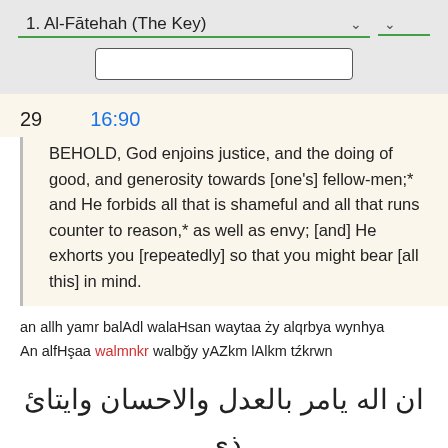1. Al-Fātehah (The Key)
29    16:90
BEHOLD, God enjoins justice, and the doing of good, and generosity towards [one's] fellow-men;* and He forbids all that is shameful and all that runs counter to reason,* as well as envy; [and] He exhorts you [repeatedly] so that you might bear [all this] in mind.
an allh yamr balAdl walaHsan waytaa ży alqrbya wynhya An alfHşaa walmnkr walbğy yAZkm lAlkm tźkrwn
ان اله يامر بالعدل والاحسان وايتائ ذى القربا وينهـا عن الفحشاء والمنكر